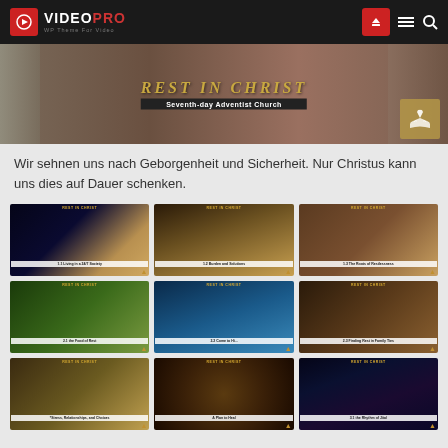VIDEO PRO — WP Theme For Video
[Figure (photo): Hero banner: REST IN CHRIST — Seventh-day Adventist Church promotional image with desert/nature background and Adventist Church logo badge]
Wir sehnen uns nach Geborgenheit und Sicherheit. Nur Christus kann uns dies auf Dauer schenken.
[Figure (photo): Grid of 9 video thumbnails for REST IN CHRIST series by Seventh-day Adventist Church, showing various nature backgrounds (city lights, desert, cracked earth, butterfly, mountain, rocks, wheat field, heart rock, aurora)]